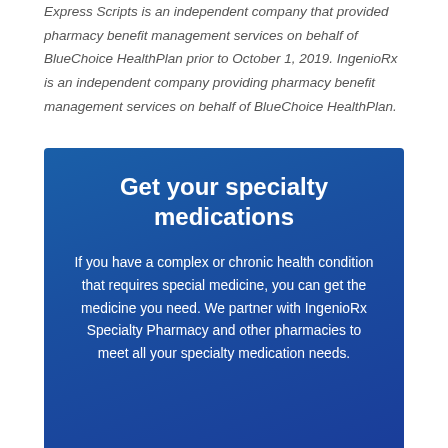Express Scripts is an independent company that provided pharmacy benefit management services on behalf of BlueChoice HealthPlan prior to October 1, 2019. IngenioRx is an independent company providing pharmacy benefit management services on behalf of BlueChoice HealthPlan.
Get your specialty medications
If you have a complex or chronic health condition that requires special medicine, you can get the medicine you need. We partner with IngenioRx Specialty Pharmacy and other pharmacies to meet all your specialty medication needs.